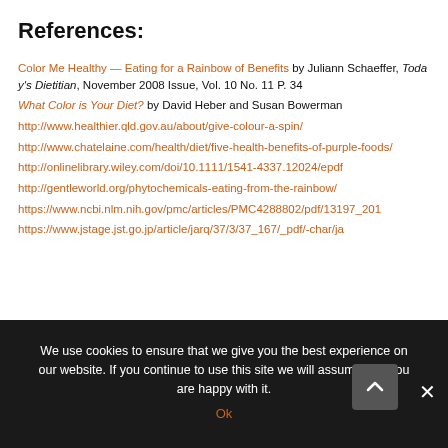References:
Color Me Healthy — Eating for a Rainbow of Benefits by Juliann Schaeffer, Today's Dietitian, November 2008 Issue, Vol. 10 No. 11 P. 34
What Color is Your Diet? by David Heber and Susan Bowerman
http://www.healthier.qld.gov.au/about/give-colour-a-spin/
http://www.chatelaine.com/health/diet/five-health-benefits-of-purple-foods/
http://onlinelibrary.wiley.com/doi/10.1111/1541-4337.12024/epdf
http://gentleworld.org/phytochemicals-eating-from-the-rainbow/
https://www.ncbi.nlm.nih.gov/pmc/articles/PMC4288802/pdf/13197_201
https://www.jstage.jst.go.jp/article/jarq/37/3/37_167/_pdf/-char/ja
We use cookies to ensure that we give you the best experience on our website. If you continue to use this site we will assume that you are happy with it.
Ok